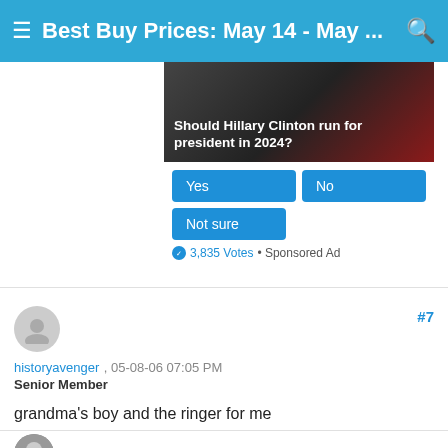Best Buy Prices: May 14 - May ...
[Figure (screenshot): A poll ad asking 'Should Hillary Clinton run for president in 2024?' with Yes, No, and Not sure buttons, and 3,835 Votes · Sponsored Ad]
#7
historyavenger , 05-08-06 07:05 PM
Senior Member
grandma's boy and the ringer for me

thanks speedy!